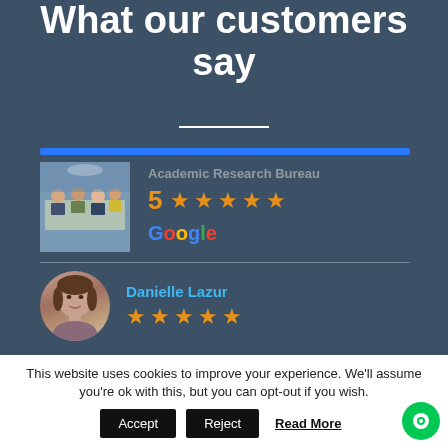What our customers say
[Figure (photo): Photo of people at a classroom or conference table setting]
Academic Research Bureau
5 ★★★★★
Google
Danielle Lazur
★★★★★
This website uses cookies to improve your experience. We'll assume you're ok with this, but you can opt-out if you wish.
Accept
Reject
Read More